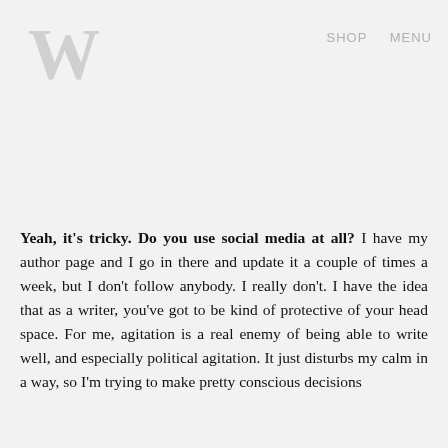W   SHOP   MENU
Yeah, it's tricky. Do you use social media at all? I have my author page and I go in there and update it a couple of times a week, but I don't follow anybody. I really don't. I have the idea that as a writer, you've got to be kind of protective of your head space. For me, agitation is a real enemy of being able to write well, and especially political agitation. It just disturbs my calm in a way, so I'm trying to make pretty conscious decisions